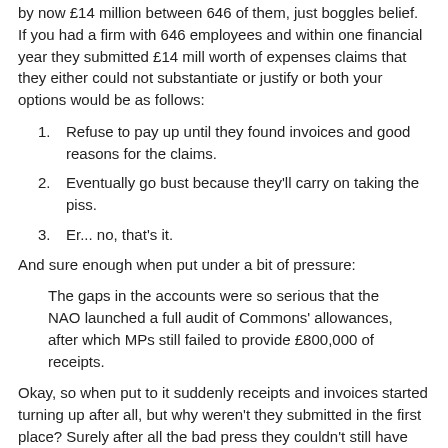by now £14 million between 646 of them, just boggles belief. If you had a firm with 646 employees and within one financial year they submitted £14 mill worth of expenses claims that they either could not substantiate or justify or both your options would be as follows:
1. Refuse to pay up until they found invoices and good reasons for the claims.
2. Eventually go bust because they'll carry on taking the piss.
3. Er... no, that's it.
And sure enough when put under a bit of pressure:
The gaps in the accounts were so serious that the NAO launched a full audit of Commons' allowances, after which MPs still failed to provide £800,000 of receipts.
Okay, so when put to it suddenly receipts and invoices started turning up after all, but why weren't they submitted in the first place? Surely after all the bad press they couldn't still have believed they didn't need to, so was it just laziness?